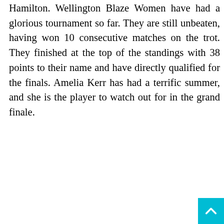Hamilton. Wellington Blaze Women have had a glorious tournament so far. They are still unbeaten, having won 10 consecutive matches on the trot. They finished at the top of the standings with 38 points to their name and have directly qualified for the finals. Amelia Kerr has had a terrific summer, and she is the player to watch out for in the grand finale.